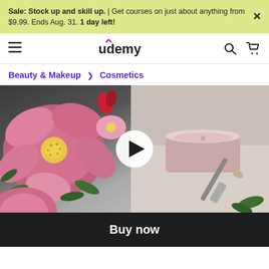Sale: Stock up and skill up. | Get courses on just about anything from $9.99. Ends Aug. 31. 1 day left!
[Figure (logo): Udemy navigation bar with hamburger menu, Udemy logo, search icon, and cart icon]
Beauty & Makeup > Cosmetics
[Figure (photo): Video thumbnail showing pink flowers and cosmetics (cream jar and makeup brush) with a white play button overlay]
Buy now